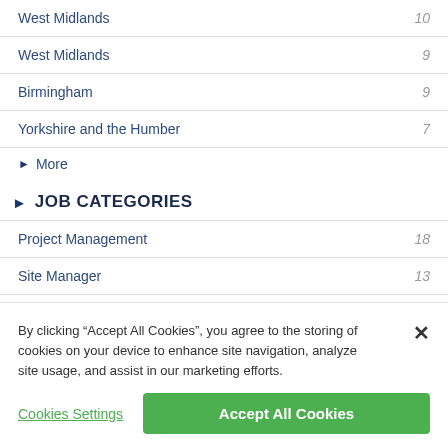West Midlands 10
West Midlands 9
Birmingham 9
Yorkshire and the Humber 7
More
JOB CATEGORIES
Project Management 18
Site Manager 13
Management 7
By clicking “Accept All Cookies”, you agree to the storing of cookies on your device to enhance site navigation, analyze site usage, and assist in our marketing efforts.